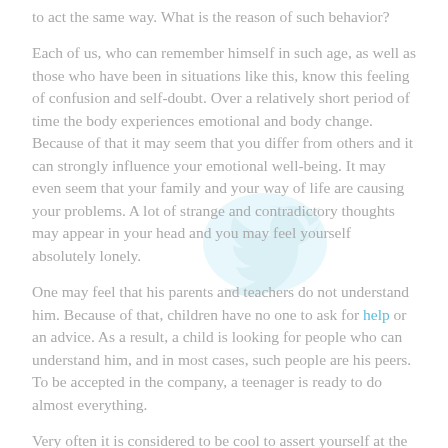to act the same way. What is the reason of such behavior?
Each of us, who can remember himself in such age, as well as those who have been in situations like this, know this feeling of confusion and self-doubt. Over a relatively short period of time the body experiences emotional and body change. Because of that it may seem that you differ from others and it can strongly influence your emotional well-being. It may even seem that your family and your way of life are causing your problems. A lot of strange and contradictory thoughts may appear in your head and you may feel yourself absolutely lonely.
One may feel that his parents and teachers do not understand him. Because of that, children have no one to ask for help or an advice. As a result, a child is looking for people who can understand him, and in most cases, such people are his peers. To be accepted in the company, a teenager is ready to do almost everything.
Very often it is considered to be cool to assert yourself at the expense of others. According to Wikipedia, boys are facing